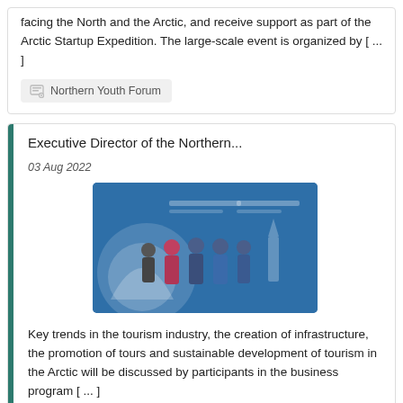facing the North and the Arctic, and receive support as part of the Arctic Startup Expedition. The large-scale event is organized by [ ... ]
Northern Youth Forum
Executive Director of the Northern...
03 Aug 2022
[Figure (photo): Group photo of five people standing in front of a blue Arctic/Northern Forum event backdrop]
Key trends in the tourism industry, the creation of infrastructure, the promotion of tours and sustainable development of tourism in the Arctic will be discussed by participants in the business program [ ... ]
Northern Forum